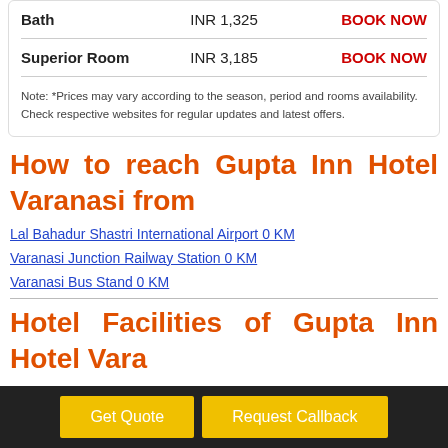| Room | Price | Action |
| --- | --- | --- |
| Bath | INR 1,325 | BOOK NOW |
| Superior Room | INR 3,185 | BOOK NOW |
Note: *Prices may vary according to the season, period and rooms availability. Check respective websites for regular updates and latest offers.
How to reach Gupta Inn Hotel Varanasi from
Lal Bahadur Shastri International Airport 0 KM
Varanasi Junction Railway Station 0 KM
Varanasi Bus Stand 0 KM
Hotel Facilities of Gupta Inn Hotel Varanasi